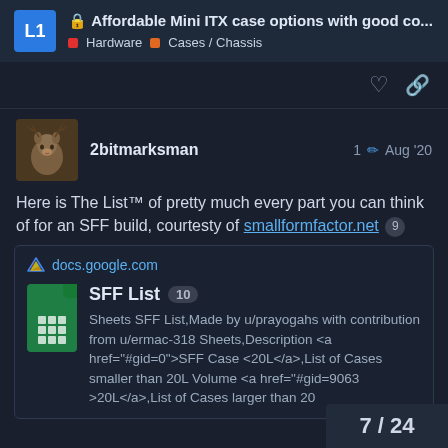🔒 Affordable Mini ITX case options with good co... | Hardware | Cases / Chassis
Here is The List™ of pretty much every part you can think of for an SFF build, courtesty of smallformfactor.net 9
2bitmarksman  1 ✏️  Aug '20
[Figure (screenshot): Link preview card for docs.google.com showing SFF List (Google Sheets icon) with description: Sheets SFF List,Made by u/prayogahs with contribution from u/ermac-318 Sheets,Description <a href="#gid=0">SFF Case <20L</a>,List of Cases smaller than 20L Volume <a href="#gid=9063">20L</a>,List of Cases larger than 20]
7 / 24